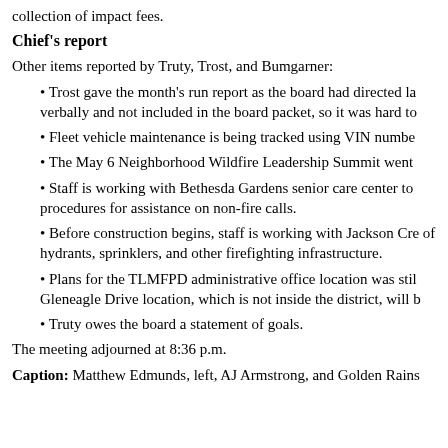collection of impact fees.
Chief's report
Other items reported by Truty, Trost, and Bumgarner:
Trost gave the month's run report as the board had directed la verbally and not included in the board packet, so it was hard to
Fleet vehicle maintenance is being tracked using VIN numbe
The May 6 Neighborhood Wildfire Leadership Summit went
Staff is working with Bethesda Gardens senior care center to procedures for assistance on non-fire calls.
Before construction begins, staff is working with Jackson Cre of hydrants, sprinklers, and other firefighting infrastructure.
Plans for the TLMFPD administrative office location was stil Gleneagle Drive location, which is not inside the district, will b
Truty owes the board a statement of goals.
The meeting adjourned at 8:36 p.m.
Caption: Matthew Edmunds, left, AJ Armstrong, and Golden Rains